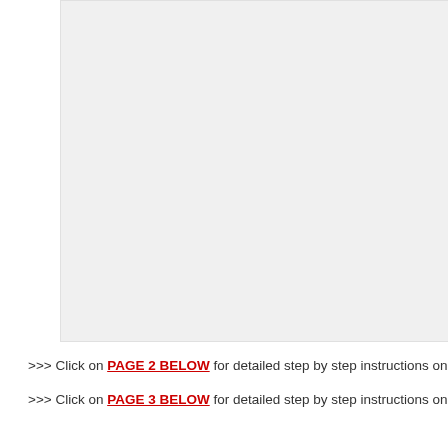[Figure (other): Large light gray rectangular box occupying the upper portion of the page]
>>> Click on PAGE 2 BELOW for detailed step by step instructions on how to li
>>> Click on PAGE 3 BELOW for detailed step by step instructions on how to li